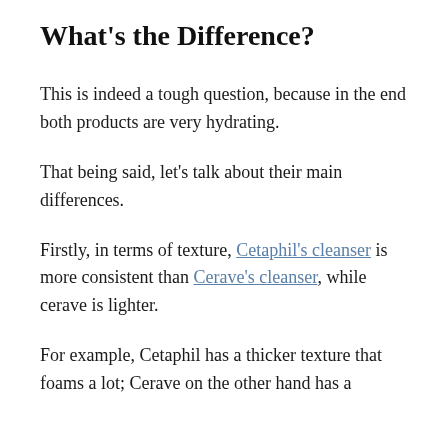What's the Difference?
This is indeed a tough question, because in the end both products are very hydrating.
That being said, let's talk about their main differences.
Firstly, in terms of texture, Cetaphil's cleanser is more consistent than Cerave's cleanser, while cerave is lighter.
For example, Cetaphil has a thicker texture that foams a lot; Cerave on the other hand has a